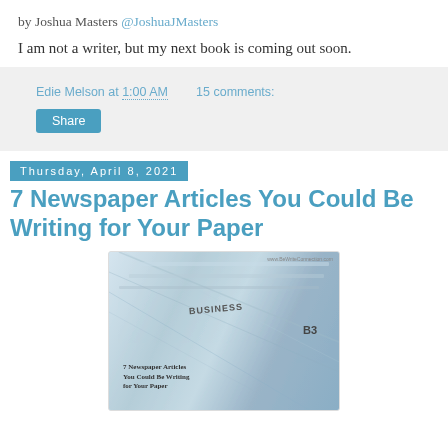by Joshua Masters @JoshuaJMasters
I am not a writer, but my next book is coming out soon.
Edie Melson at 1:00 AM   15 comments:
Share
Thursday, April 8, 2021
7 Newspaper Articles You Could Be Writing for Your Paper
[Figure (photo): Stack of folded newspapers photographed close-up at an angle, with text overlaid: '7 Newspaper Articles You Could Be Writing for Your Paper'. A watermark reading www.BeWriteConnection.com is in the upper right. Visible text on newspapers includes 'BUSINESS' and 'B3'.]